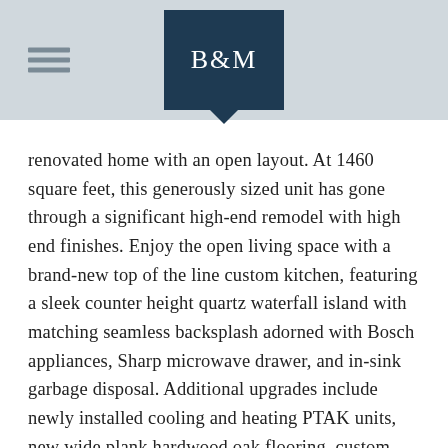B&M
renovated home with an open layout. At 1460 square feet, this generously sized unit has gone through a significant high-end remodel with high end finishes. Enjoy the open living space with a brand-new top of the line custom kitchen, featuring a sleek counter height quartz waterfall island with matching seamless backsplash adorned with Bosch appliances, Sharp microwave drawer, and in-sink garbage disposal. Additional upgrades include newly installed cooling and heating PTAK units, new wide plank hardwood oak flooring, custom doors, moldings, and hardware. There is an abundance of closets throughout the home to provide ample storage. Enter your private outdoor 800 sqft oasis through a custom-built pergola to take in the glistening sunset and enjoy the opportunity to dine al-fresco. This outdoor space includes intelligently designed double barn doors that easily slide open to invite in the incredible water and skyline views. The 3-bedroom